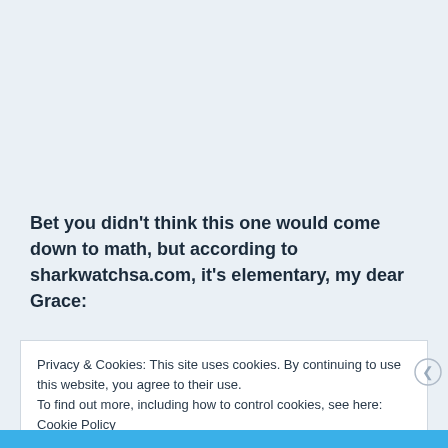Bet you didn't think this one would come down to math, but according to sharkwatchsa.com, it's elementary, my dear Grace:
Privacy & Cookies: This site uses cookies. By continuing to use this website, you agree to their use.
To find out more, including how to control cookies, see here: Cookie Policy
Close and accept